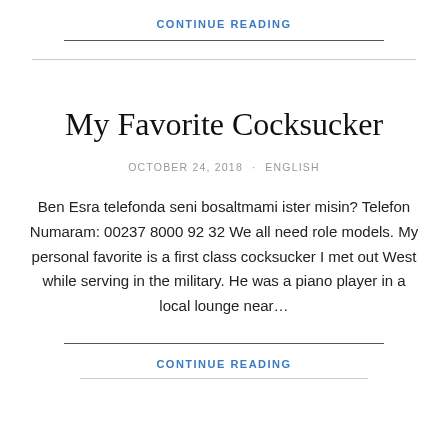CONTINUE READING
My Favorite Cocksucker
OCTOBER 24, 2018 · ENGLISH
Ben Esra telefonda seni bosaltmami ister misin? Telefon Numaram: 00237 8000 92 32 We all need role models. My personal favorite is a first class cocksucker I met out West while serving in the military. He was a piano player in a local lounge near…
CONTINUE READING